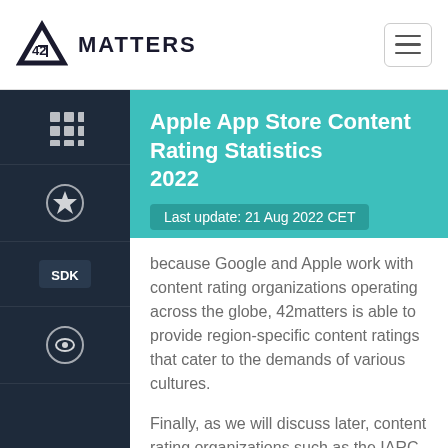42 MATTERS
Apple App Store Content Rating Statistics 2022
Last update: 21 Aug 2022 CET
because Google and Apple work with content rating organizations operating across the globe, 42matters is able to provide region-specific content ratings that cater to the demands of various cultures.
Finally, as we will discuss later, content rating organizations such as the IARC assess not only the content of the apps, but any and all interactive elements that might collect and share location or personal information, enable user interaction, share user-generated content, or offer in-app digital purchases.